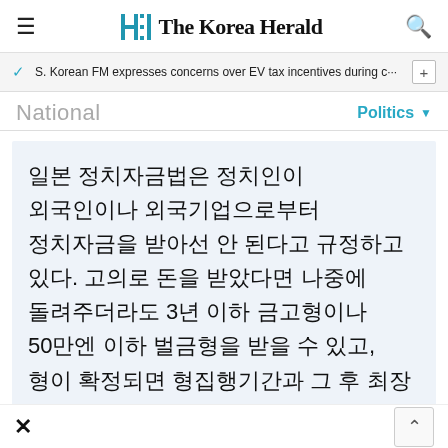The Korea Herald
S. Korean FM expresses concerns over EV tax incentives during c···
National
Politics
일본 정치자금법은 정치인이 외국인이나 외국기업으로부터 정치자금을 받아선 안 된다고 규정하고 있다. 고의로 돈을 받았다면 나중에 돌려주더라도 3년 이하 금고형이나 50만엔 이하 벌금형을 받을 수 있고, 형이 확정되면 형집행기간과 그 후 최장 5년간 선거권과 피선거권이 정지된다. (연합뉴스)